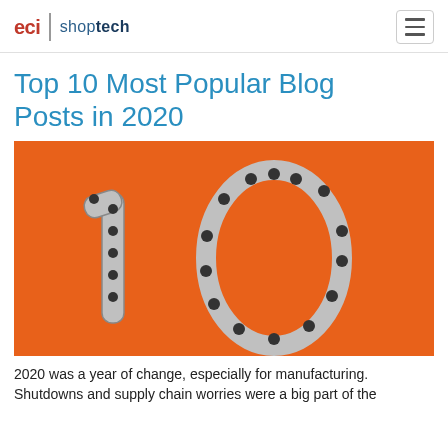eci | shoptech
Top 10 Most Popular Blog Posts in 2020
[Figure (photo): Orange background with the number '10' formed by bicycle chain links on an orange surface]
2020 was a year of change, especially for manufacturing. Shutdowns and supply chain worries were a big part of the